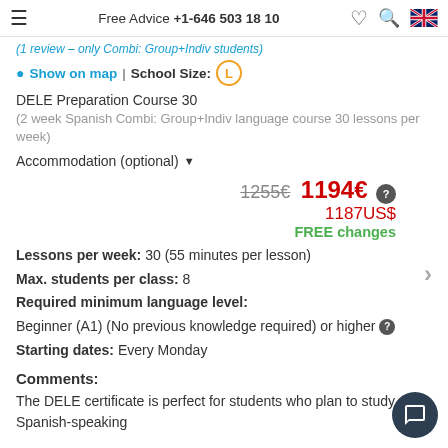Free Advice +1-646 503 18 10
(1 review – only Combi: Group+Indiv students)
Show on map | School Size: L
DELE Preparation Course 30
(2 week Spanish Combi: Group+Indiv language course 30 lessons per week)
Accommodation (optional)
1255€ 1194€ 1187US$ FREE changes
Lessons per week: 30 (55 minutes per lesson)
Max. students per class: 8
Required minimum language level:
Beginner (A1) (No previous knowledge required) or higher
Starting dates: Every Monday
Comments:
The DELE certificate is perfect for students who plan to study at a Spanish-speaking